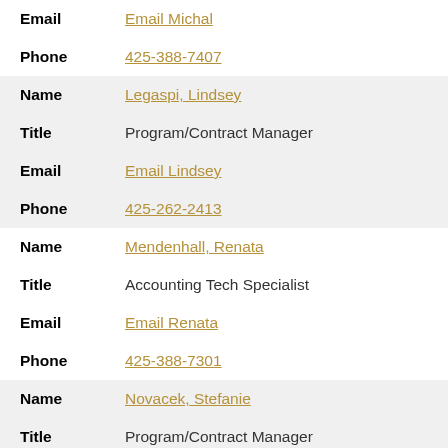Email | Email Michal
Phone | 425-388-7407
Name | Legaspi, Lindsey
Title | Program/Contract Manager
Email | Email Lindsey
Phone | 425-262-2413
Name | Mendenhall, Renata
Title | Accounting Tech Specialist
Email | Email Renata
Phone | 425-388-7301
Name | Novacek, Stefanie
Title | Program/Contract Manager
Email | Email Stefanie